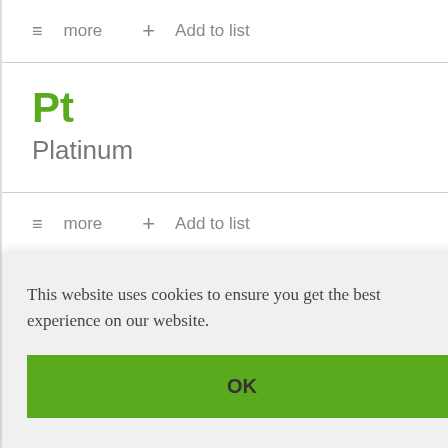≡ more   + Add to list
Pt
Platinum
≡ more   + Add to list
Mn
This website uses cookies to ensure you get the best experience on our website.
OK
C